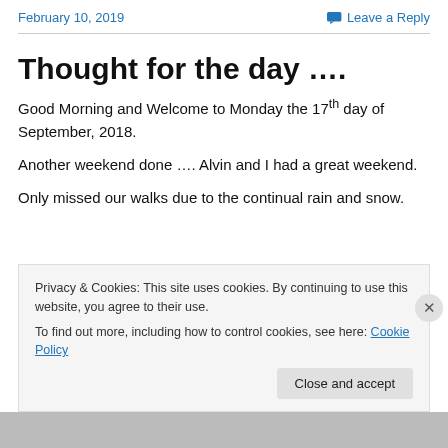February 10, 2019 | Leave a Reply
Thought for the day ….
Good Morning and Welcome to Monday the 17th day of September, 2018.
Another weekend done …. Alvin and I had a great weekend.
Only missed our walks due to the continual rain and snow.
Privacy & Cookies: This site uses cookies. By continuing to use this website, you agree to their use. To find out more, including how to control cookies, see here: Cookie Policy